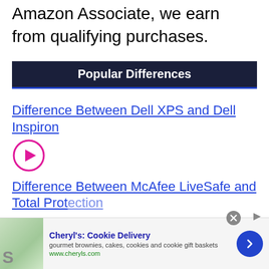Amazon Associate, we earn from qualifying purchases.
Popular Differences
Difference Between Dell XPS and Dell Inspiron
[Figure (other): Play button circle icon (pink/magenta outline with triangle)]
Difference Between McAfee LiveSafe and Total Protection
[Figure (other): Advertisement banner: Cheryl's Cookie Delivery - gourmet brownies, cakes, cookies and cookie gift baskets - www.cheryls.com]